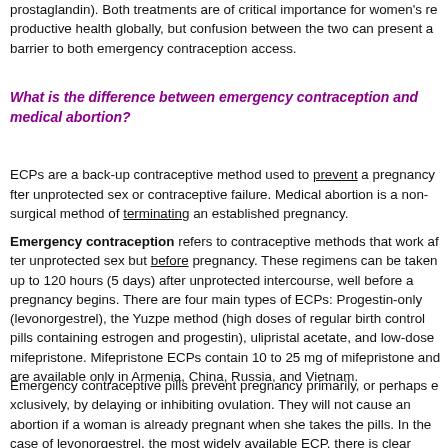prostaglandin). Both treatments are of critical importance for women's reproductive health globally, but confusion between the two can present a barrier to both emergency contraception access.
What is the difference between emergency contraception and medical abortion?
ECPs are a back-up contraceptive method used to prevent a pregnancy after unprotected sex or contraceptive failure. Medical abortion is a non-surgical method of terminating an established pregnancy.
Emergency contraception refers to contraceptive methods that work after unprotected sex but before pregnancy. These regimens can be taken up to 120 hours (5 days) after unprotected intercourse, well before a pregnancy begins. There are four main types of ECPs: Progestin-only (levonorgestrel), the Yuzpe method (high doses of regular birth control pills containing estrogen and progestin), ulipristal acetate, and low-dose mifepristone. Mifepristone ECPs contain 10 to 25 mg of mifepristone and are available only in Armenia, China, Russia, and Vietnam.
Emergency contraceptive pills prevent pregnancy primarily, or perhaps exclusively, by delaying or inhibiting ovulation. They will not cause an abortion if a woman is already pregnant when she takes the pills. In the case of levonorgestrel, the most widely available ECP, there is clear evidence that interference with ovulation is the primary mechanism of action. It is possible that levonorgestrel may have additional effects prior to fertilization (such as impairing the migration of sperm) but no post-fertilization effects after fertilization. No evidence supports the theory that levonorgestrel